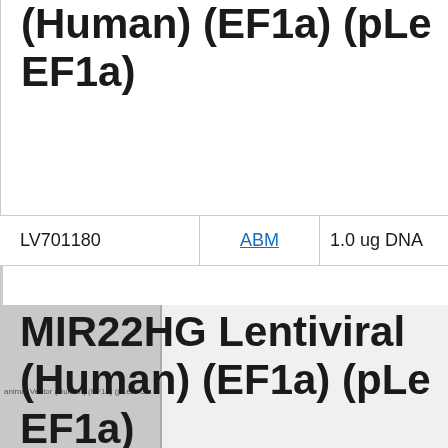(Human) (EF1a) (pLe EF1a)
| ID | Source | Format |
| --- | --- | --- |
| LV701180 | ABM | 1.0 ug DNA |
[Figure (screenshot): Thumbnail image of product labeled with partial text: animal Vector (Human) (EF1a) (pLex4...]
MIR22HG Lentiviral (Human) (EF1a) (pLe EF1a)